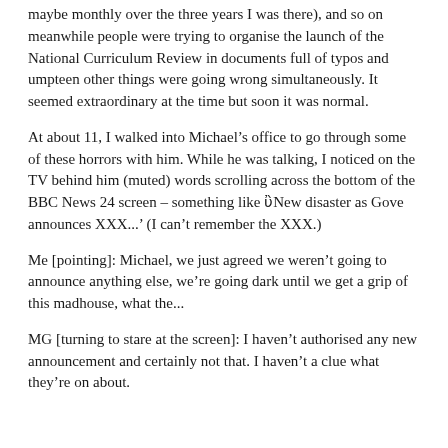maybe monthly over the three years I was there), and so on meanwhile people were trying to organise the launch of the National Curriculum Review in documents full of typos and umpteen other things were going wrong simultaneously. It seemed extraordinary at the time but soon it was normal.
At about 11, I walked into Michael’s office to go through some of these horrors with him. While he was talking, I noticed on the TV behind him (muted) words scrolling across the bottom of the BBC News 24 screen – something like ‘New disaster as Gove announces XXX...’ (I can’t remember the XXX.)
Me [pointing]: Michael, we just agreed we weren’t going to announce anything else, we’re going dark until we get a grip of this madhouse, what the...
MG [turning to stare at the screen]: I haven’t authorised any new announcement and certainly not that. I haven’t a clue what they’re on about.